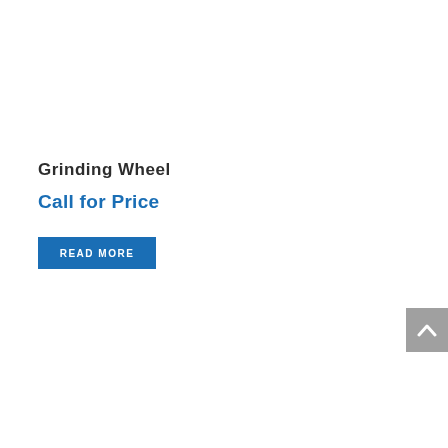Grinding Wheel
Call for Price
READ MORE